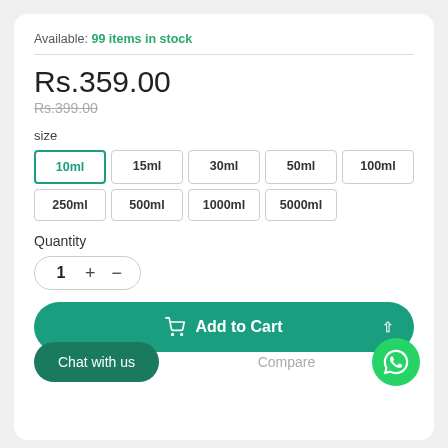Available: 99 items in stock
Rs.359.00
Rs.399.00
size
10ml (selected)
15ml
30ml
50ml
100ml
250ml
500ml
1000ml
5000ml
Quantity
1
Add to Cart
Chat with us
Compare